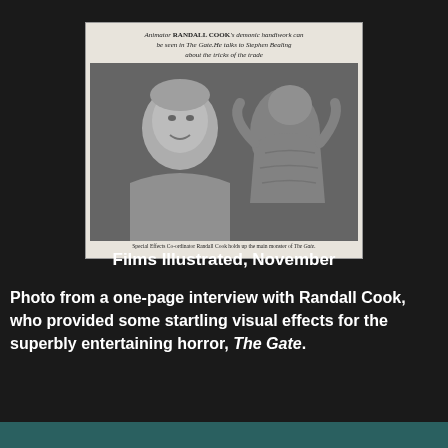[Figure (photo): Black and white newspaper/magazine photo of a man (Randall Cook, Special Effects Co-ordinator) holding up the main monster of The Gate. The photo has a caption at top reading 'Animator RANDALL COOK's demonic handiwork can be seen in The Gate. He talks to Stephen Bealing about the tricks of the trade' and a bottom caption 'Special Effects Co-ordinator Randall Cook holds up the main monster of The Gate.']
Films Illustrated, November
Photo from a one-page interview with Randall Cook, who provided some startling visual effects for the superbly entertaining horror, The Gate.